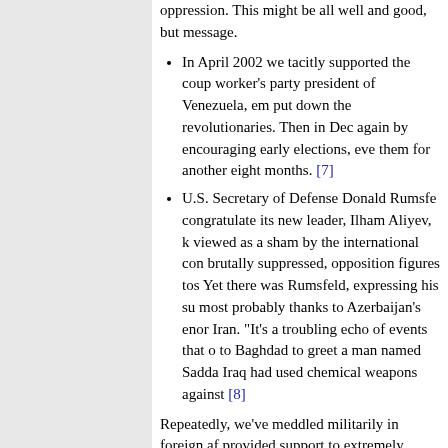oppression. This might be all well and good, but message.
In April 2002 we tacitly supported the coup worker's party president of Venezuela, em put down the revolutionaries. Then in Dec again by encouraging early elections, eve them for another eight months. [7]
U.S. Secretary of Defense Donald Rumsfe congratulate its new leader, Ilham Aliyev, k viewed as a sham by the international con brutally suppressed, opposition figures tos Yet there was Rumsfeld, expressing his su most probably thanks to Azerbaijan's enor Iran. "It's a troubling echo of events that o to Baghdad to greet a man named Sadda Iraq had used chemical weapons against [8]
Repeatedly, we've meddled militarily in foreign af provided support to extremely brutal leaders, anc isn't doing its job of trumpeting this loud and clea Americans. The world already painfully knows the Our method of choosing our enemies first, then c whether to support a corrupt dictator or brutal reg result does not fit well with our country's suppose democratic and humanitarian ideals.
We hurt the Iranian people by providing ba assistance to Iraq while we knew Saddam chemical weapons against them [9], and